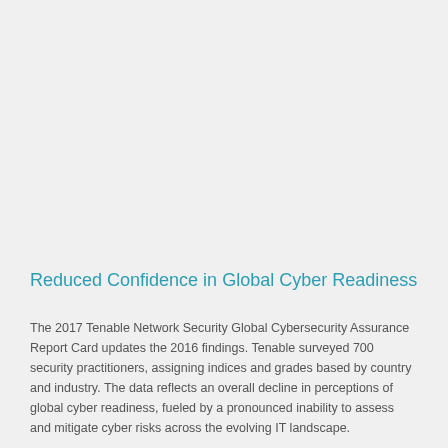Reduced Confidence in Global Cyber Readiness
The 2017 Tenable Network Security Global Cybersecurity Assurance Report Card updates the 2016 findings. Tenable surveyed 700 security practitioners, assigning indices and grades based by country and industry. The data reflects an overall decline in perceptions of global cyber readiness, fueled by a pronounced inability to assess and mitigate cyber risks across the evolving IT landscape.